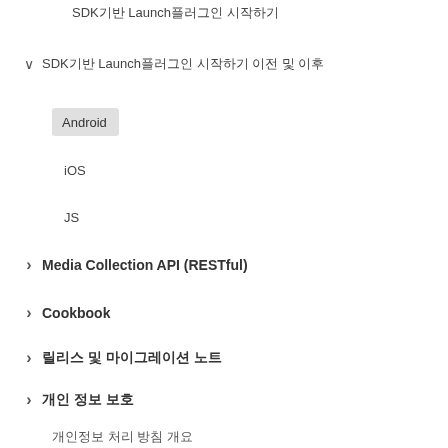SDK기반 Launch플러그인 시작하기
▾ SDK기반 Launch플러그인 시작하기 이전 및 이후
Android (active/selected)
iOS
JS
› Media Collection API (RESTful)
› Cookbook
› 릴리스 및 마이그레이션 노트
› 개인 정보 보호
개인정보 처리 방침 개요
› 사용자 동의 관리
Federated Analytics